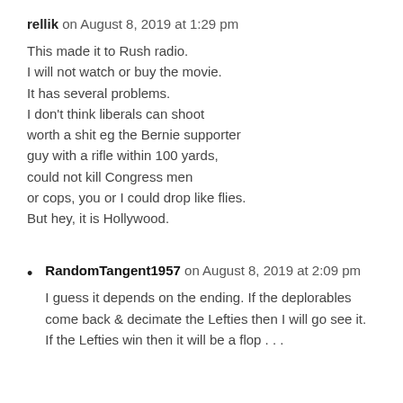rellik on August 8, 2019 at 1:29 pm
This made it to Rush radio.
I will not watch or buy the movie.
It has several problems.
I don't think liberals can shoot
worth a shit eg the Bernie supporter
guy with a rifle within 100 yards,
could not kill Congress men
or cops, you or I could drop like flies.
But hey, it is Hollywood.
RandomTangent1957 on August 8, 2019 at 2:09 pm
I guess it depends on the ending. If the deplorables come back & decimate the Lefties then I will go see it. If the Lefties win then it will be a flop . . .